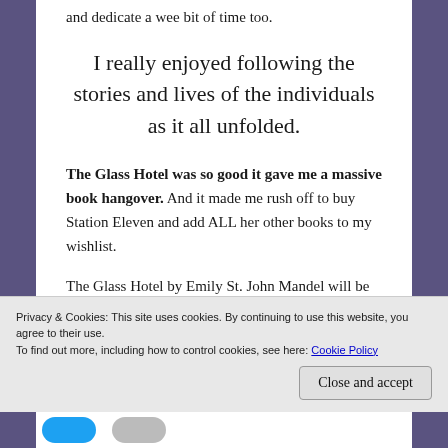and dedicate a wee bit of time too.
I really enjoyed following the stories and lives of the individuals as it all unfolded.
The Glass Hotel was so good it gave me a massive book hangover. And it made me rush off to buy Station Eleven and add ALL her other books to my wishlist.
The Glass Hotel by Emily St. John Mandel will be released on the 30th April – I highly recommend
Privacy & Cookies: This site uses cookies. By continuing to use this website, you agree to their use.
To find out more, including how to control cookies, see here: Cookie Policy
Close and accept